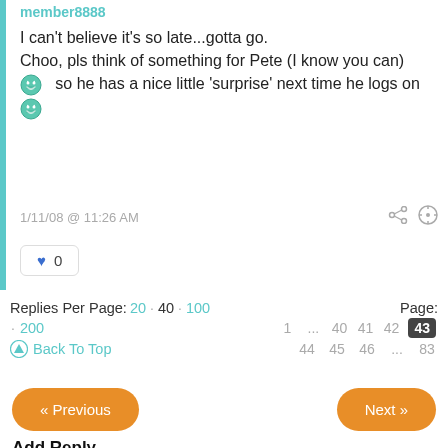I can't believe it's so late…gotta go. Choo, pls think of something for Pete (I know you can) 😁 so he has a nice little 'surprise' next time he logs on 😁
1/11/08 @ 11:26 AM
♥ 0
Replies Per Page: 20 · 40 · 100 · 200   Page: 1 … 40 41 42 43 44 45 46 … 83
Back To Top
« Previous
Next »
Add Reply